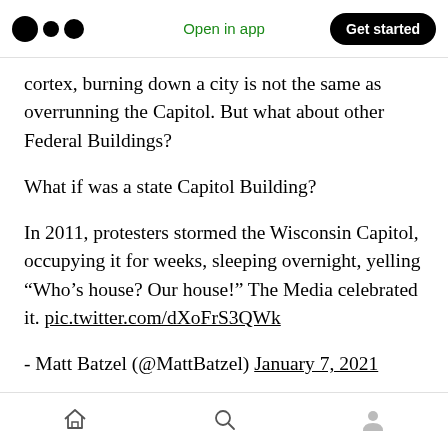Medium logo | Open in app | Get started
cortex, burning down a city is not the same as overrunning the Capitol. But what about other Federal Buildings?
What if was a state Capitol Building?
In 2011, protesters stormed the Wisconsin Capitol, occupying it for weeks, sleeping overnight, yelling “Who’s house? Our house!” The Media celebrated it. pic.twitter.com/dXoFrS3QWk
- Matt Batzel (@MattBatzel) January 7, 2021
Home | Search | Profile